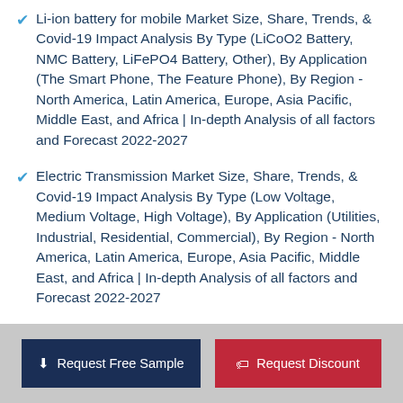Li-ion battery for mobile Market Size, Share, Trends, & Covid-19 Impact Analysis By Type (LiCoO2 Battery, NMC Battery, LiFePO4 Battery, Other), By Application (The Smart Phone, The Feature Phone), By Region - North America, Latin America, Europe, Asia Pacific, Middle East, and Africa | In-depth Analysis of all factors and Forecast 2022-2027
Electric Transmission Market Size, Share, Trends, & Covid-19 Impact Analysis By Type (Low Voltage, Medium Voltage, High Voltage), By Application (Utilities, Industrial, Residential, Commercial), By Region - North America, Latin America, Europe, Asia Pacific, Middle East, and Africa | In-depth Analysis of all factors and Forecast 2022-2027
Request Free Sample | Request Discount